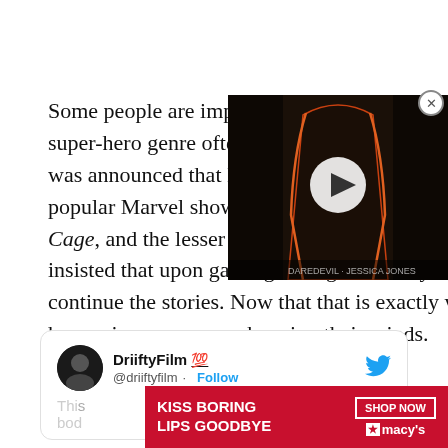[Figure (screenshot): Video overlay with dark background showing a robed figure with orange outline/glow, with a circular play button in the center. Close (X) button at top right.]
Some people are impossible to please, and fans of the super-hero genre often come top of the list. When it was announced that Netflix would be cancelling the popular Marvel shows Daredevil, Jessica Jones, Luke Cage, and the lesser so Iron Fist, fans were upset and insisted that upon gaining the rights Disney should continue the stories. Now that that is exactly what is happening, many are changing their minds.
[Figure (screenshot): Tweet from DriiftyFilm 💯 @driiftyfilm with Follow button, Twitter bird logo. Tweet body partially visible reading 'Thi... bod...']
[Figure (screenshot): Advertisement banner: red background with white text 'KISS BORING LIPS GOODBYE', woman's face with red lips, SHOP NOW button, Macy's star logo.]